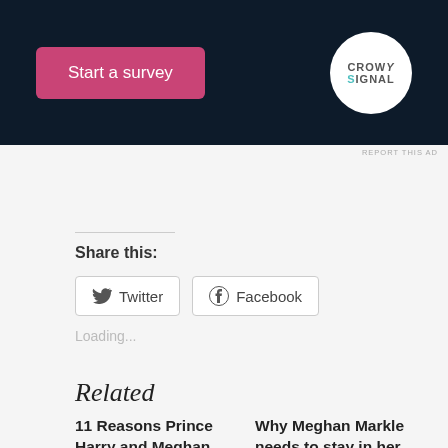[Figure (screenshot): Advertisement banner with dark navy background showing a pink 'Start a survey' button and the CrowdSignal logo in a white circle]
REPORT THIS AD
Share this:
Twitter
Facebook
Loading...
Related
11 Reasons Prince Harry and Meghan Markle probably won't
Why Meghan Markle needs to stay in her lane